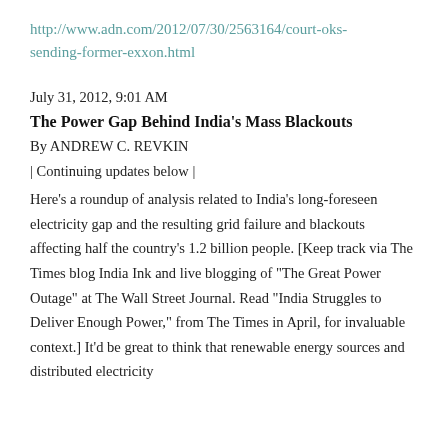http://www.adn.com/2012/07/30/2563164/court-oks-sending-former-exxon.html
July 31, 2012, 9:01 AM
The Power Gap Behind India's Mass Blackouts
By ANDREW C. REVKIN
| Continuing updates below |
Here's a roundup of analysis related to India's long-foreseen electricity gap and the resulting grid failure and blackouts affecting half the country's 1.2 billion people. [Keep track via The Times blog India Ink and live blogging of "The Great Power Outage" at The Wall Street Journal. Read "India Struggles to Deliver Enough Power," from The Times in April, for invaluable context.] It'd be great to think that renewable energy sources and distributed electricity